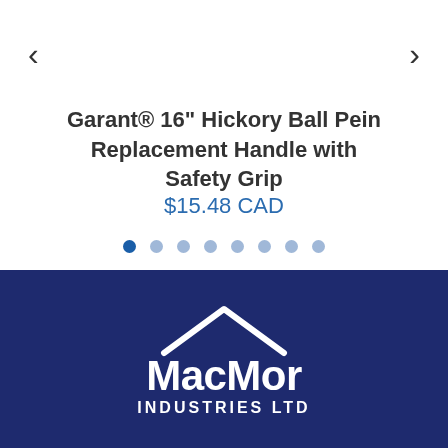Garant® 16" Hickory Ball Pein Replacement Handle with Safety Grip
$15.48 CAD
[Figure (logo): MacMor Industries Ltd logo — white text and white roof/house outline shape on dark navy blue background]
MacMor Industries Ltd